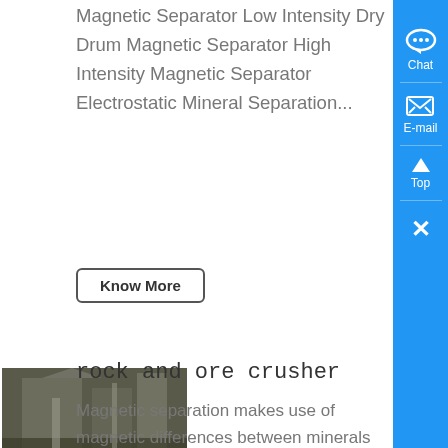Magnetic Separator Low Intensity Dry Drum Magnetic Separator High Intensity Magnetic Separator Electrostatic Mineral Separation...
Know More
[Figure (photo): Industrial mining equipment interior photo showing a large facility with machinery]
rock and ore crusher
Magnetic separation makes use of magnetic differences between minerals to separate material, which occupies a very important position in iron ore separation field Magnetic separating ...
Know More
[Figure (photo): Industrial mining equipment exterior photo showing construction site with machinery]
Jiangxi Hengcheng Mining Equipment gold mining equipment .